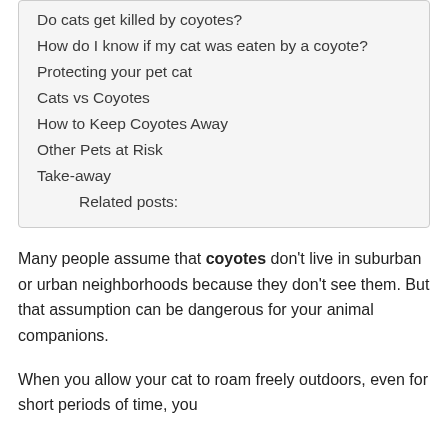Do cats get killed by coyotes?
How do I know if my cat was eaten by a coyote?
Protecting your pet cat
Cats vs Coyotes
How to Keep Coyotes Away
Other Pets at Risk
Take-away
Related posts:
Many people assume that coyotes don't live in suburban or urban neighborhoods because they don't see them. But that assumption can be dangerous for your animal companions.
When you allow your cat to roam freely outdoors, even for short periods of time, you